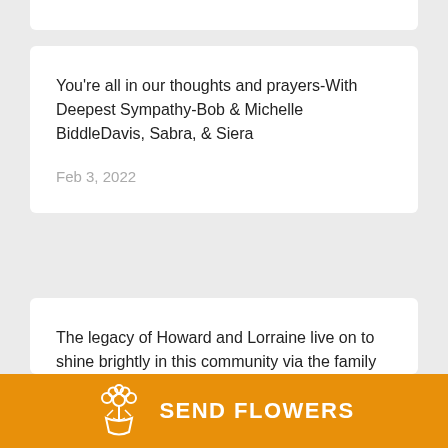You're all in our thoughts and prayers-With Deepest Sympathy-Bob & Michelle BiddleDavis, Sabra, & Siera
Feb 3, 2022
The legacy of Howard and Lorraine live on to shine brightly in this community via the family they helped God produce. Our thoughts and prayers continue to be with the Susan, Davis and
[Figure (illustration): Orange bar with flower bouquet icon and SEND FLOWERS text button]